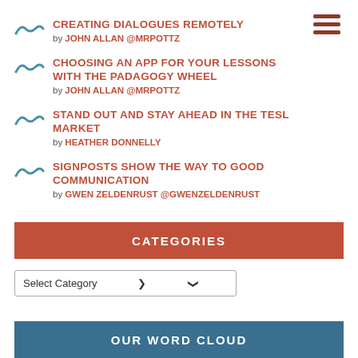CREATING DIALOGUES REMOTELY by JOHN ALLAN @MRPOTTZ
CHOOSING AN APP FOR YOUR LESSONS WITH THE PADAGOGY WHEEL by JOHN ALLAN @MRPOTTZ
STAND OUT AND STAY AHEAD IN THE TESL MARKET by HEATHER DONNELLY
SIGNPOSTS SHOW THE WAY TO GOOD COMMUNICATION by GWEN ZELDENRUST @GWENZELDENRUST
CATEGORIES
OUR WORD CLOUD